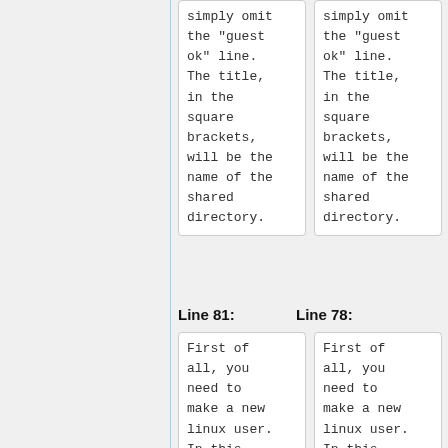simply omit the "guest ok" line. The title, in the square brackets, will be the name of the shared directory.
simply omit the "guest ok" line. The title, in the square brackets, will be the name of the shared directory.
Line 81:
Line 78:
First of all, you need to make a new linux user. In this case, I will be making a
First of all, you need to make a new linux user. In this case, I will be making a